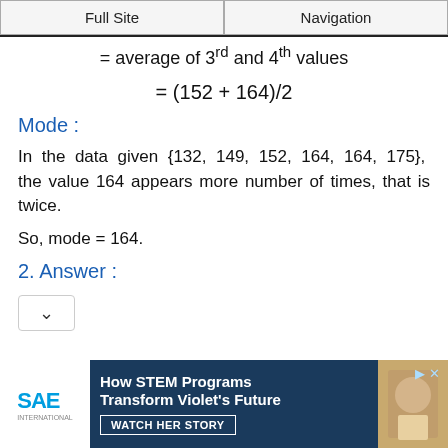Full Site | Navigation
= average of 3rd and 4th values
Mode :
In the data given {132, 149, 152, 164, 164, 175}, the value 164 appears more number of times, that is twice.
So, mode = 164.
2. Answer :
[Figure (other): Dropdown/collapse button widget]